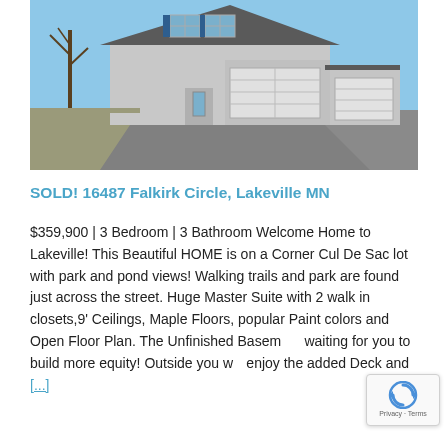[Figure (photo): Exterior photo of a two-story suburban home with attached two-car garage, bare trees, asphalt driveway, and dry grass lawn under a clear blue sky.]
SOLD! 16487 Falkirk Circle, Lakeville MN
$359,900 | 3 Bedroom | 3 Bathroom Welcome Home to Lakeville! This Beautiful HOME is on a Corner Cul De Sac lot with park and pond views! Walking trails and park are found just across the street. Huge Master Suite with 2 walk in closets,9' Ceilings, Maple Floors, popular Paint colors and Open Floor Plan. The Unfinished Basement waiting for you to build more equity! Outside you will enjoy the added Deck and [...]